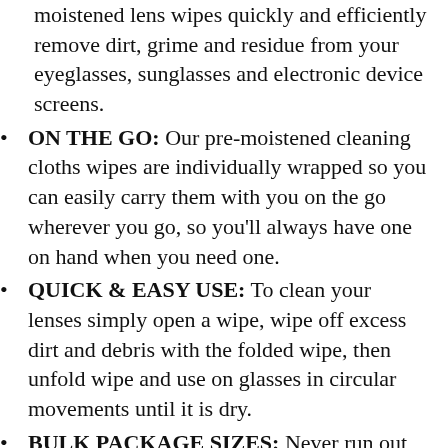moistened lens wipes quickly and efficiently remove dirt, grime and residue from your eyeglasses, sunglasses and electronic device screens.
ON THE GO: Our pre-moistened cleaning cloths wipes are individually wrapped so you can easily carry them with you on the go wherever you go, so you'll always have one on hand when you need one.
QUICK & EASY USE: To clean your lenses simply open a wipe, wipe off excess dirt and debris with the folded wipe, then unfold wipe and use on glasses in circular movements until it is dry.
BULK PACKAGE SIZES: Never run out of wipes! These eyewear wipes are available in 30, 100, 200, 400 or 600 packs.
AMMONIA FREE FORMULA: These lens wipes are specially designed to address the